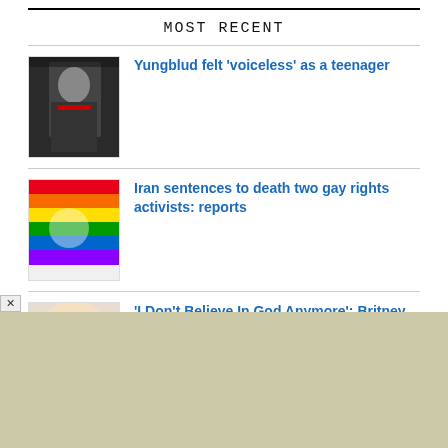MOST RECENT
Yungblud felt ‘voiceless’ as a teenager
Iran sentences to death two gay rights activists: reports
'I Don't Believe In God Anymore': Britney Spears Posts 2-Minute Recording Speaking To Son